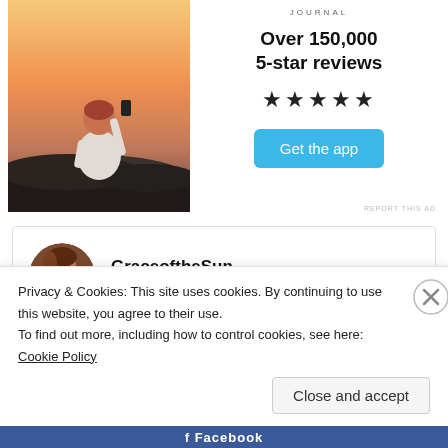[Figure (photo): Person sitting on rocks facing away from camera, looking at sunset, holding a phone, wearing white t-shirt]
JOURNAL
Over 150,000 5-star reviews
★★★★★
Get the app
REPORT THIS AD
GraceoftheSun
5th Jul 2021 at 6:59 pm
Privacy & Cookies: This site uses cookies. By continuing to use this website, you agree to their use.
To find out more, including how to control cookies, see here: Cookie Policy
Close and accept